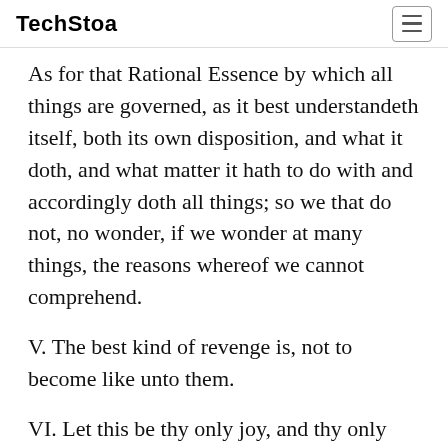TechStoa
As for that Rational Essence by which all things are governed, as it best understandeth itself, both its own disposition, and what it doth, and what matter it hath to do with and accordingly doth all things; so we that do not, no wonder, if we wonder at many things, the reasons whereof we cannot comprehend.
V. The best kind of revenge is, not to become like unto them.
VI. Let this be thy only joy, and thy only comfort, from one sociable kind action without intermission to pass unto another, God being ever in thy mind.